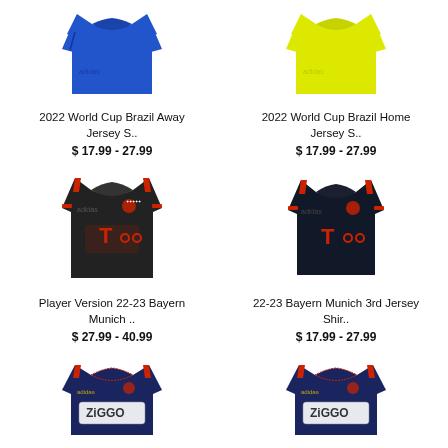[Figure (photo): Blue 2022 World Cup Brazil Away Jersey]
2022 World Cup Brazil Away Jersey S..
$ 17.99 - 27.99
[Figure (photo): Yellow 2022 World Cup Brazil Home Jersey]
2022 World Cup Brazil Home Jersey S..
$ 17.99 - 27.99
[Figure (photo): Dark grey/black Bayern Munich 3rd jersey with red Telekom T-Mobile logo]
Player Version 22-23 Bayern Munich ..
$ 27.99 - 40.99
[Figure (photo): Dark navy/black Bayern Munich 3rd jersey with red Telekom T-Mobile logo]
22-23 Bayern Munich 3rd Jersey Shir..
$ 17.99 - 27.99
[Figure (photo): Navy blue Ajax away jersey with Ziggo sponsor]
[Figure (photo): Navy blue Ajax away jersey with Ziggo sponsor (variant)]